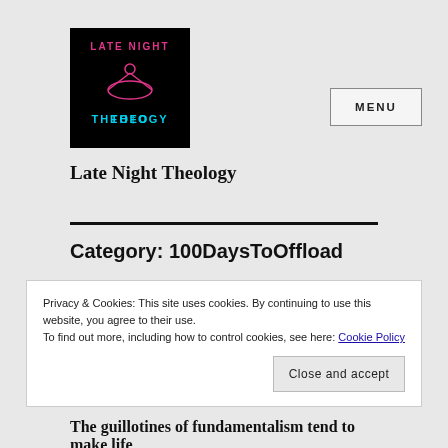[Figure (logo): Late Night Theology logo — black background with pink neon 'LATE NIGHT' text arched above a neon pink figure, and cyan neon 'THEOLOGY' text below]
Late Night Theology
Category: 100DaysToOffload
Privacy & Cookies: This site uses cookies. By continuing to use this website, you agree to their use.
To find out more, including how to control cookies, see here: Cookie Policy
Close and accept
The guillotines of fundamentalism tend to make life